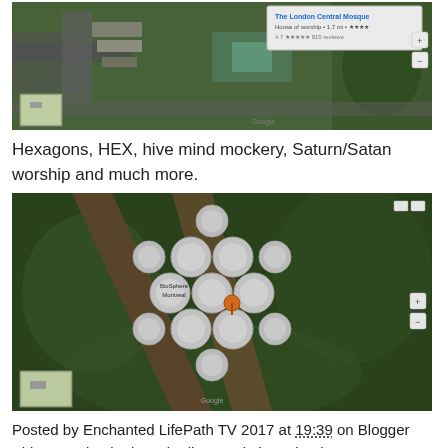[Figure (screenshot): Satellite/aerial Google Maps view of The London Central Mosque area with a map info popup visible in upper right showing 'The London Central Mosque' with star rating and reviews]
Hexagons, HEX, hive mind mockery, Saturn/Satan worship and much more.
[Figure (screenshot): Satellite/aerial Google Maps view showing a cluster of white dome-shaped structures arranged in a hexagonal/hive pattern surrounded by green trees, with Google watermark at bottom]
Posted by Enchanted LifePath TV 2017 at 19:39 on Blogger
Video now backed up via direct website upload.